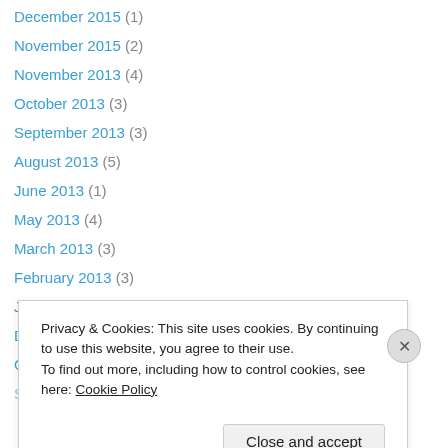December 2015 (1)
November 2015 (2)
November 2013 (4)
October 2013 (3)
September 2013 (3)
August 2013 (5)
June 2013 (1)
May 2013 (4)
March 2013 (3)
February 2013 (3)
January 2013 (4)
December 2012 (1)
October 2012 (1)
September 2012 (1)
Privacy & Cookies: This site uses cookies. By continuing to use this website, you agree to their use. To find out more, including how to control cookies, see here: Cookie Policy
Close and accept